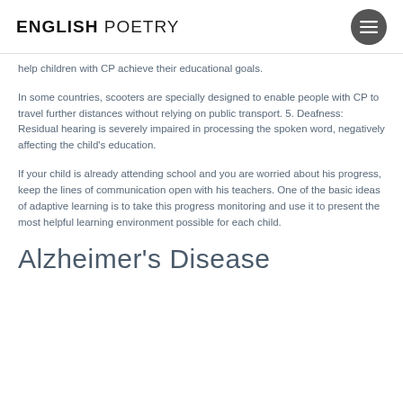ENGLISH POETRY
help children with CP achieve their educational goals.
In some countries, scooters are specially designed to enable people with CP to travel further distances without relying on public transport. 5. Deafness: Residual hearing is severely impaired in processing the spoken word, negatively affecting the child's education.
If your child is already attending school and you are worried about his progress, keep the lines of communication open with his teachers. One of the basic ideas of adaptive learning is to take this progress monitoring and use it to present the most helpful learning environment possible for each child.
Alzheimer's Disease